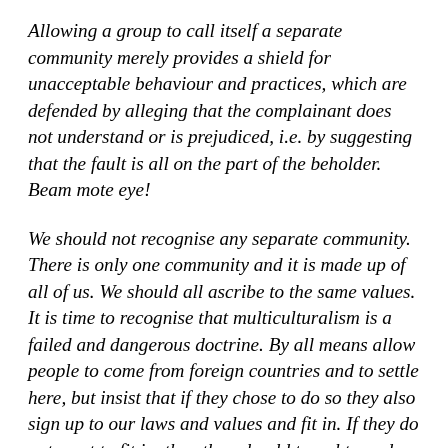Allowing a group to call itself a separate community merely provides a shield for unacceptable behaviour and practices, which are defended by alleging that the complainant does not understand or is prejudiced, i.e. by suggesting that the fault is all on the part of the beholder. Beam mote eye!
We should not recognise any separate community. There is only one community and it is made up of all of us. We should all ascribe to the same values. It is time to recognise that multiculturalism is a failed and dangerous doctrine. By all means allow people to come from foreign countries and to settle here, but insist that if they chose to do so they also sign up to our laws and values and fit in. If they do not want to fit in, then they should travel to and reside in a place that is more congenial to their views. Or have the travel expenses paid? For all...